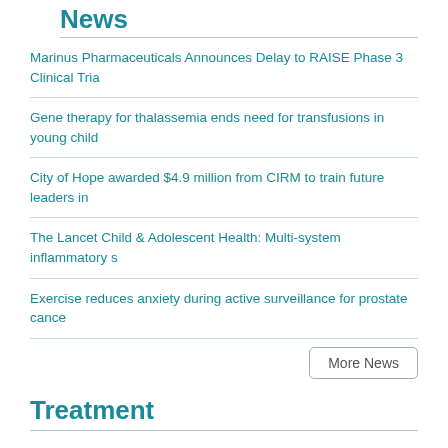News
Marinus Pharmaceuticals Announces Delay to RAISE Phase 3 Clinical Tria
Gene therapy for thalassemia ends need for transfusions in young child
City of Hope awarded $4.9 million from CIRM to train future leaders in
The Lancet Child & Adolescent Health: Multi-system inflammatory s
Exercise reduces anxiety during active surveillance for prostate cance
More News
Treatment